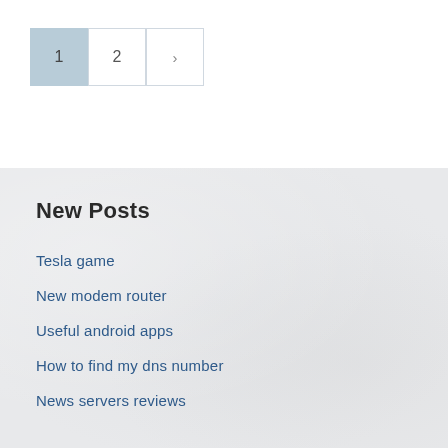1 2 >
New Posts
Tesla game
New modem router
Useful android apps
How to find my dns number
News servers reviews